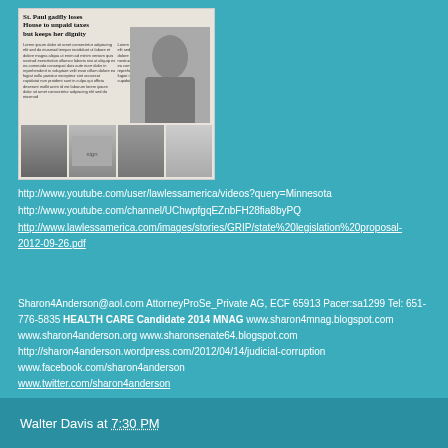[Figure (photo): Newspaper clipping showing headline 'St. Paul gadfly loses house to unpaid taxes but keeps her dignity' with photos of a woman and smaller photos below]
http://www.youtube.com/user/lawlessamerica/videos?query=Minnesota
http://www.youtube.com/channel/UChwpfgqEZnbFH28fia8byPQ
http://www.lawlessamerica.com/images/stories/GRIP/state%20legislation%20proposal-2012-09-26.pdf
Sharon4Anderson@aol.com AttorneyProSe_Private AG, ECF 65913 Pacer:sa1299 Tel: 651-776-5835 HEALTH CARE Candidate 2014 MNAG www.sharon4mnag.blogspot.com
www.sharon4anderson.org www.sharonsenate64.blogspot.com
http://sharon4anderson.wordpress.com/2012/04/14/judicial-corruption
www.facebook.com/sharon4anderson
www.twitter.com/sharon4anderson
Walter Davis at 7:30 PM